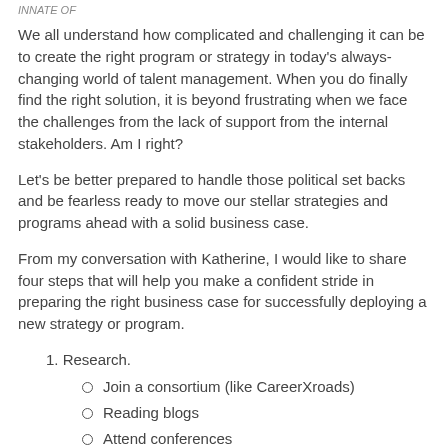INNATE OF
We all understand how complicated and challenging it can be to create the right program or strategy in today’s always-changing world of talent management. When you do finally find the right solution, it is beyond frustrating when we face the challenges from the lack of support from the internal stakeholders. Am I right?
Let’s be better prepared to handle those political set backs and be fearless ready to move our stellar strategies and programs ahead with a solid business case.
From my conversation with Katherine, I would like to share four steps that will help you make a confident stride in preparing the right business case for successfully deploying a new strategy or program.
Research.
Join a consortium (like CareerXroads)
Reading blogs
Attend conferences